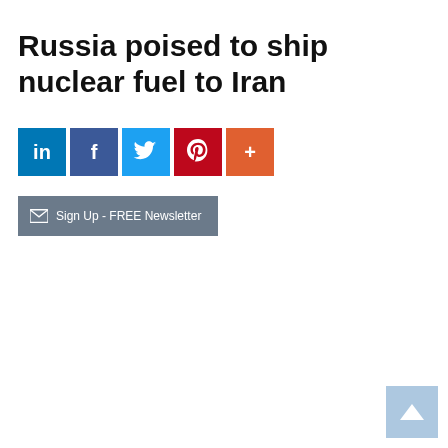Russia poised to ship nuclear fuel to Iran
[Figure (infographic): Social share buttons row: LinkedIn (blue), Facebook (dark blue), Twitter (light blue), Pinterest (red), More/Plus (orange-red)]
[Figure (infographic): Email newsletter signup button with envelope icon: 'Sign Up - FREE Newsletter']
[Figure (infographic): Scroll-to-top button in light blue with upward arrow, bottom-right corner]